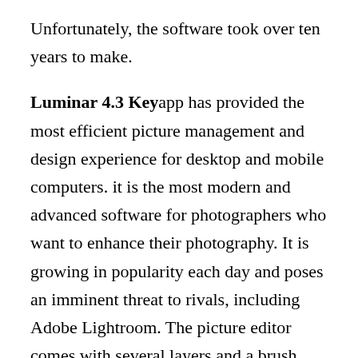Unfortunately, the software took over ten years to make.
Luminar 4.3 Key app has provided the most efficient picture management and design experience for desktop and mobile computers. it is the most modern and advanced software for photographers who want to enhance their photography. It is growing in popularity each day and poses an imminent threat to rivals, including Adobe Lightroom. The picture editor comes with several layers and a brush that allows you to modify your images more effectively than the previous. Thanks to its sophisticated usage of artificial intelligence, Luminar 4.3 Crack